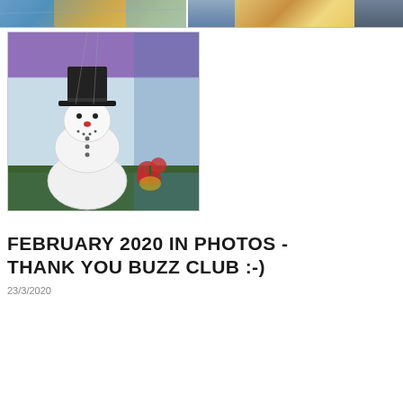[Figure (photo): Two photos at the top of the page: left photo shows colorful decorations or display items; right photo shows a scene with warm tones, possibly a room or event setting.]
[Figure (photo): Photo of a paper or cardboard snowman craft with a black top hat, red nose, and buttons, placed on a green table with Christmas decorations in the background.]
FEBRUARY 2020 IN PHOTOS - THANK YOU BUZZ CLUB :-)
23/3/2020